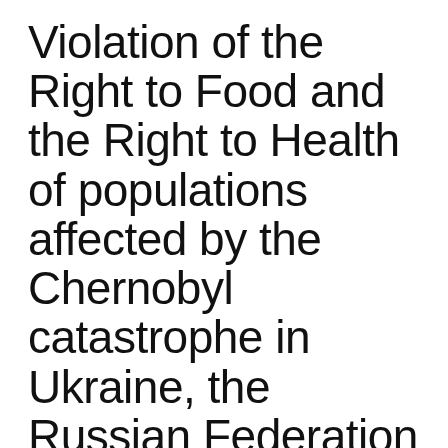Violation of the Right to Food and the Right to Health of populations affected by the Chernobyl catastrophe in Ukraine, the Russian Federation and Belarus
11/11/2008
Session 07 – Human Rights Council
Item 3 : promotion and protection of all human rights, civil, political, economic, social and cultural rights, including the right to development. Joint written statement submitted by